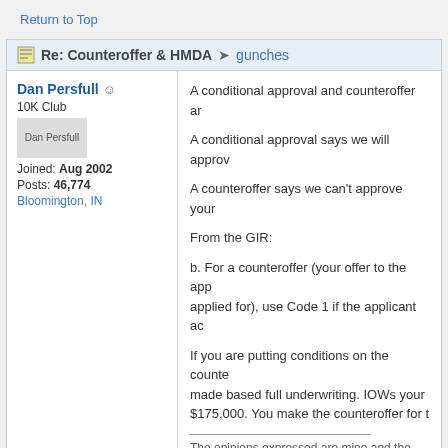Return to Top
Re: Counteroffer & HMDA → gunches
Dan Persfull ☺
10K Club
Dan Persfull
Joined: Aug 2002
Posts: 46,774
Bloomington, IN
A conditional approval and counteroffer ar

A conditional approval says we will approv

A counteroffer says we can't approve your

From the GIR:

b. For a counteroffer (your offer to the app applied for), use Code 1 if the applicant ac

If you are putting conditions on the counte made based full underwriting. IOWs your $175,000. You make the counteroffer for t

___________________________
The opinions expressed are mine and the
Return to Top
Re: Counteroffer & HMDA → gunches